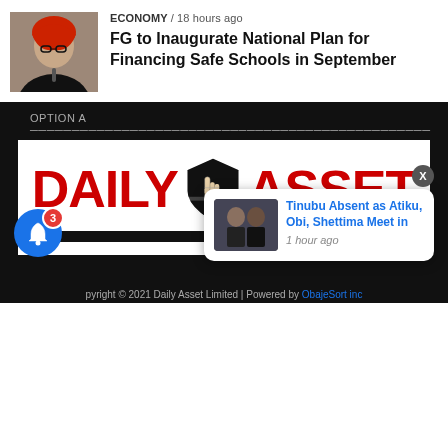[Figure (photo): Woman with red headscarf wearing glasses, speaking at podium]
ECONOMY / 18 hours ago
FG to Inaugurate National Plan for Financing Safe Schools in September
[Figure (logo): Daily Asset newspaper logo with red bold text, shield emblem, and tagline 'Truth is Treasure']
[Figure (photo): Group of politicians at a meeting]
Tinubu Absent as Atiku, Obi, Shettima Meet in
1 hour ago
pyright © 2021 Daily Asset Limited | Powered by ObajeSort inc